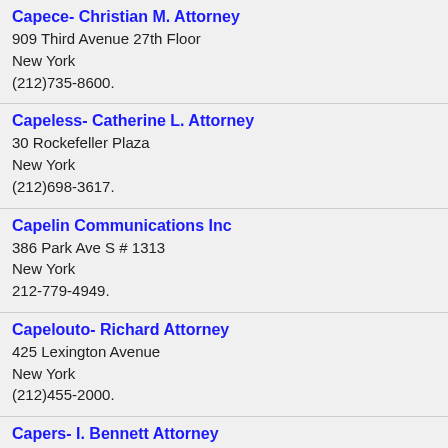Capece- Christian M. Attorney
909 Third Avenue 27th Floor
New York
(212)735-8600.
Capeless- Catherine L. Attorney
30 Rockefeller Plaza
New York
(212)698-3617.
Capelin Communications Inc
386 Park Ave S # 1313
New York
212-779-4949.
Capelouto- Richard Attorney
425 Lexington Avenue
New York
(212)455-2000.
Capers- I. Bennett Attorney
787 Seventh Avenue
New York
(212)728-8000.